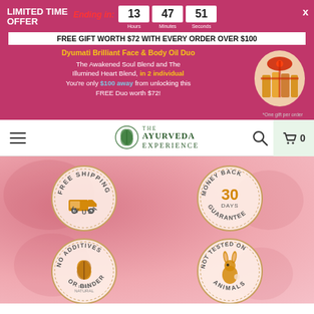LIMITED TIME OFFER
Ending in: 13 Hours 47 Minutes 51 Seconds
FREE GIFT WORTH $72 WITH EVERY ORDER OVER $100
Dyumati Brilliant Face & Body Oil Duo The Awakened Soul Blend and The Illumined Heart Blend, in 2 individual You're only $100 away from unlocking this FREE Duo worth $72!
[Figure (photo): Gift box with oil bottles wrapped with red ribbon]
*One gift per order
[Figure (logo): The Ayurveda Experience logo with leaf emblem]
[Figure (infographic): Four circular badge icons: FREE SHIPPING IN USA, MONEY BACK 30 DAYS GUARANTEE, NO ADDITIVES OR BINDERS PURE NATURAL, NOT TESTED ON ANIMALS]